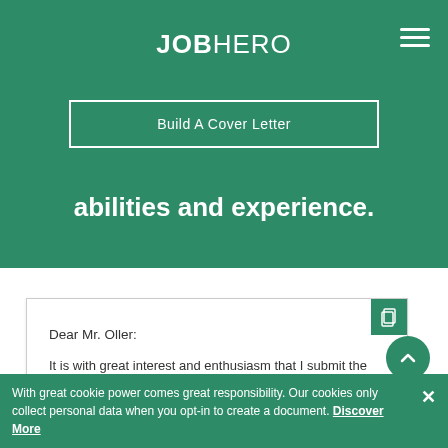JOBHERO
Build A Cover Letter
abilities and experience.
Dear Mr. Oller:
It is with great interest and enthusiasm that I submit the enclosed resume for your review in response to your search for a new Cheerleading Coach at Anabel Lewis High School. As a motivated and personable coach with five years of excellent experience developing and leading cheer programs and
With great cookie power comes great responsibility. Our cookies only collect personal data when you opt-in to create a document. Discover More